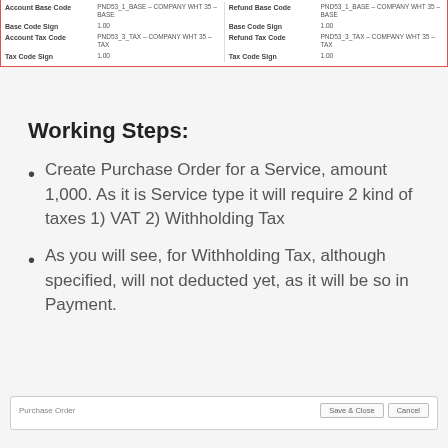| Field | Value | Field | Value |
| --- | --- | --- | --- |
| Account Base Code | PND53_1_BASE - COMPANY WHT 35 - BASE | Refund Base Code | PND53_1_BASE - COMPANY WHT 35 - BASE |
| Base Code Sign | 1.00 | Base Code Sign | 1.00 |
| Account Tax Code | PND53_3_TAX - COMPANY WHT 35 - TAX | Refund Tax Code | PND53_3_TAX - COMPANY WHT 35 - TAX |
| Tax Code Sign | 1.00 | Tax Code Sign | 1.00 |
Working Steps:
Create Purchase Order for a Service, amount 1,000. As it is Service type it will require 2 kind of taxes 1) VAT 2) Withholding Tax
As you will see, for Withholding Tax, although specified, will not deducted yet, as it will be so in Payment.